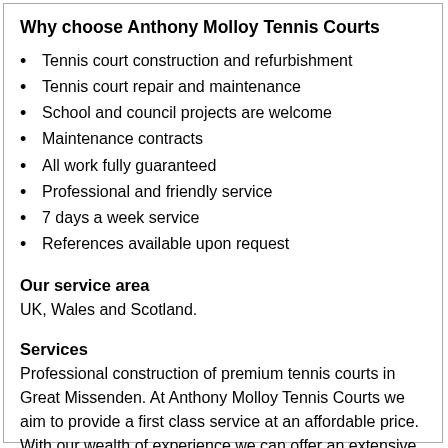Why choose Anthony Molloy Tennis Courts
Tennis court construction and refurbishment
Tennis court repair and maintenance
School and council projects are welcome
Maintenance contracts
All work fully guaranteed
Professional and friendly service
7 days a week service
References available upon request
Our service area
UK, Wales and Scotland.
Services
Professional construction of premium tennis courts in Great Missenden. At Anthony Molloy Tennis Courts we aim to provide a first class service at an affordable price. With our wealth of experience we can offer an extensive range of tennis court construction and refurbishment services that is second to none.